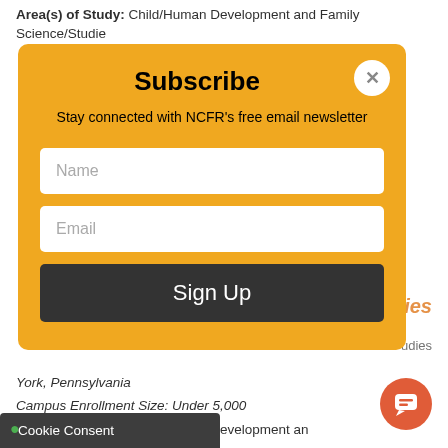Area(s) of Study:  Child/Human Development and Family Science/Studies
Studies
udies
York, Pennsylvania
Campus Enrollment Size:   Under 5,000
Area(s) of Study:  Child/Human Development and Family Science/Studies
[Figure (screenshot): Subscribe modal overlay on an education website. Yellow/orange modal with title 'Subscribe', close button (X), description text 'Stay connected with NCFR's free email newsletter', Name field, Email field, and Sign Up button.]
Cookie Consent